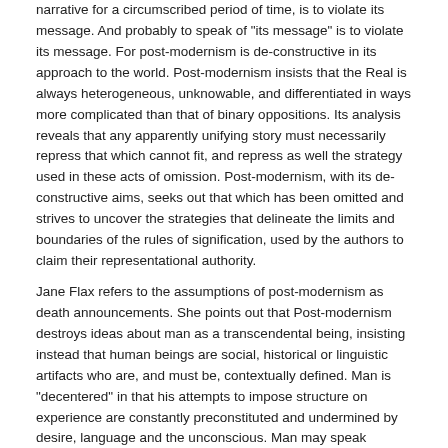narrative for a circumscribed period of time, is to violate its message. And probably to speak of "its message" is to violate its message. For post-modernism is de-constructive in its approach to the world. Post-modernism insists that the Real is always heterogeneous, unknowable, and differentiated in ways more complicated than that of binary oppositions. Its analysis reveals that any apparently unifying story must necessarily repress that which cannot fit, and repress as well the strategy used in these acts of omission. Post-modernism, with its de-constructive aims, seeks out that which has been omitted and strives to uncover the strategies that delineate the limits and boundaries of the rules of signification, used by the authors to claim their representational authority.
Jane Flax refers to the assumptions of post-modernism as death announcements. She points out that Post-modernism destroys ideas about man as a transcendental being, insisting instead that human beings are social, historical or linguistic artifacts who are, and must be, contextually defined. Man is "decentered" in that his attempts to impose structure on experience are constantly preconstituted and undermined by desire, language and the unconscious. Man may speak language, but man is also spoken by language. Man is merely another position in language, forever caught in chains of fictive signification. He does not simply use language to describe the world, he is used by that language...